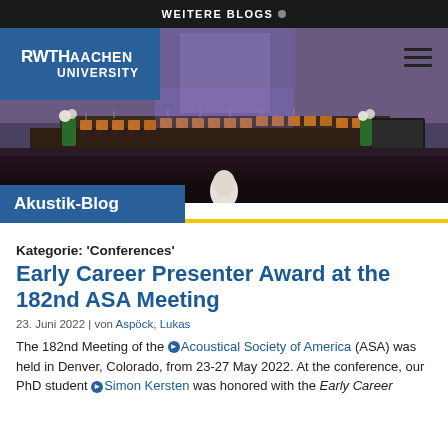WEITERE BLOGS
[Figure (logo): RWTH Aachen University logo, white text on blue background]
[Figure (photo): Concert hall photo showing orchestra stage with rows of empty seats, acoustic wall panels in background, small white mannequin head visible in center foreground]
Akustik-Blog
Kategorie: ‘Conferences’
Early Career Presenter Award at the 182nd ASA Meeting
23. Juni 2022 | von Aspöck, Lukas
The 182nd Meeting of the Acoustical Society of America (ASA) was held in Denver, Colorado, from 23-27 May 2022. At the conference, our PhD student Simon Kersten was honored with the Early Career